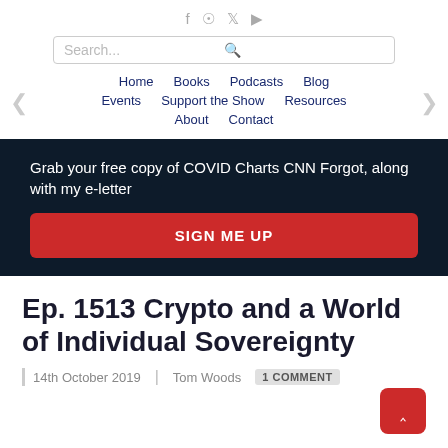Social icons: f, rss, twitter, youtube
Search...
Home | Books | Podcasts | Blog | Events | Support the Show | Resources | About | Contact
Grab your free copy of COVID Charts CNN Forgot, along with my e-letter
SIGN ME UP
Ep. 1513 Crypto and a World of Individual Sovereignty
14th October 2019 | Tom Woods | 1 COMMENT